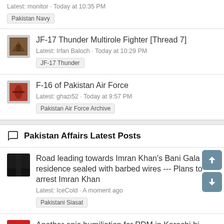Latest: monitor · Today at 10:35 PM
Pakistan Navy
JF-17 Thunder Multirole Fighter [Thread 7]
Latest: Irfan Baloch · Today at 10:29 PM
JF-17 Thunder
F-16 of Pakistan Air Force
Latest: ghazi52 · Today at 9:57 PM
Pakistan Air Force Archive
Pakistan Affairs Latest Posts
Road leading towards Imran Khan's Bani Gala residence sealed with barbed wires --- Plans to arrest Imran Khan
Latest: IceCold · A moment ago
Pakistani Siasat
Another epic humiliation for PDM in Karachi bi elections NA 245
Latest: PakAlp · 1 minute ago